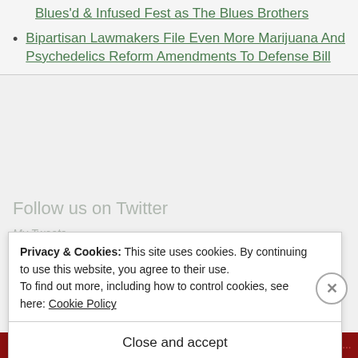Blues'd & Infused Fest as The Blues Brothers
Bipartisan Lawmakers File Even More Marijuana And Psychedelics Reform Amendments To Defense Bill
Follow us on Twitter
My Tweets
Privacy & Cookies: This site uses cookies. By continuing to use this website, you agree to their use.
To find out more, including how to control cookies, see here: Cookie Policy
Close and accept